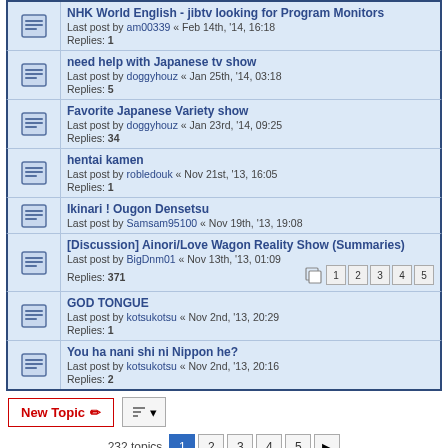NHK World English - jibtv looking for Program Monitors
Last post by am00339 « Feb 14th, '14, 16:18
Replies: 1
need help with Japanese tv show
Last post by doggyhouz « Jan 25th, '14, 03:18
Replies: 5
Favorite Japanese Variety show
Last post by doggyhouz « Jan 23rd, '14, 09:25
Replies: 34
hentai kamen
Last post by robledouk « Nov 21st, '13, 16:05
Replies: 1
Ikinari ! Ougon Densetsu
Last post by Samsam95100 « Nov 19th, '13, 19:08
[Discussion] Ainori/Love Wagon Reality Show (Summaries)
Last post by BigDnm01 « Nov 13th, '13, 01:09
Replies: 371
GOD TONGUE
Last post by kotsukotsu « Nov 2nd, '13, 20:29
Replies: 1
You ha nani shi ni Nippon he?
Last post by kotsukotsu « Nov 2nd, '13, 20:16
Replies: 2
New Topic   232 topics 1 2 3 4 5 ▶
Jump to